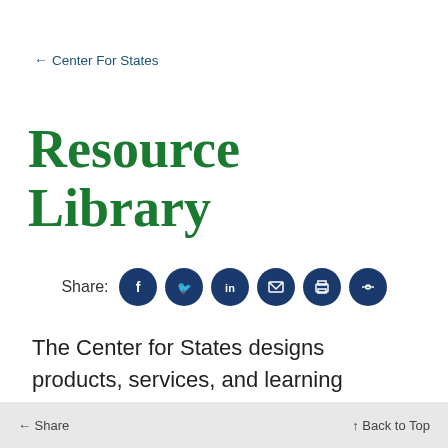← Center For States
Resource Library
[Figure (infographic): Share row with social media icons: Facebook, Twitter, LinkedIn, Email, Print, Link — all dark navy circular icon buttons preceded by 'Share:' label]
The Center for States designs products, services, and learning experiences to increase understanding and awareness, and build knowledge and skills. The
← Share   ↑ Back to Top